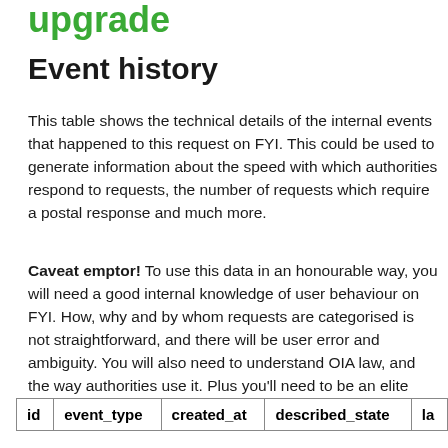upgrade
Event history
This table shows the technical details of the internal events that happened to this request on FYI. This could be used to generate information about the speed with which authorities respond to requests, the number of requests which require a postal response and much more.
Caveat emptor! To use this data in an honourable way, you will need a good internal knowledge of user behaviour on FYI. How, why and by whom requests are categorised is not straightforward, and there will be user error and ambiguity. You will also need to understand OIA law, and the way authorities use it. Plus you'll need to be an elite statistician. Please contact us with questions.
| id | event_type | created_at | described_state | la... |
| --- | --- | --- | --- | --- |